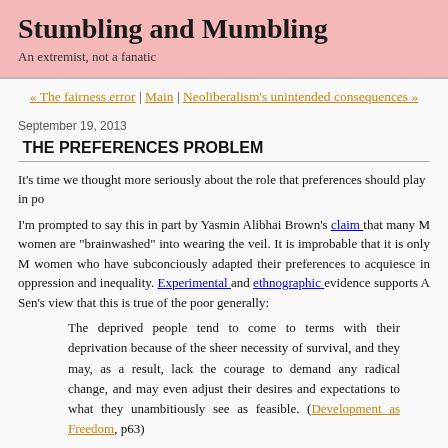Stumbling and Mumbling
An extremist, not a fanatic
« The fairness error | Main | Neoliberalism's unintended consequences »
September 19, 2013
THE PREFERENCES PROBLEM
It's time we thought more seriously about the role that preferences should play in po
I'm prompted to say this in part by Yasmin Alibhai Brown's claim that many M women are "brainwashed" into wearing the veil. It is improbable that it is only M women who have subconciously adapted their preferences to acquiesce in oppression and inequality. Experimental and ethnographic evidence supports A Sen's view that this is true of the poor generally:
The deprived people tend to come to terms with their deprivation because of the sheer necessity of survival, and they may, as a result, lack the courage to demand any radical change, and may even adjust their desires and expectations to what they unambitiously see as feasible. (Development as Freedom, p63)
The question is: what political implication does this have?